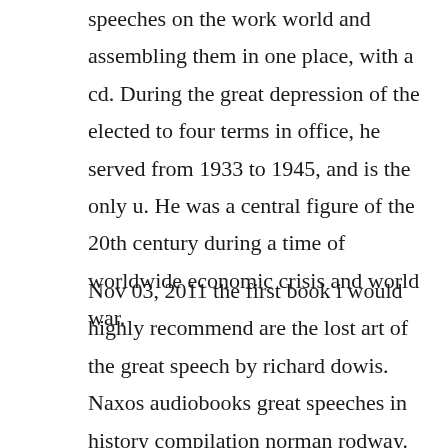speeches on the work world and assembling them in one place, with a cd. During the great depression of the elected to four terms in office, he served from 1933 to 1945, and is the only u. He was a central figure of the 20th century during a time of worldwide economic crisis and world war.
Nov 03, 2011 the first book i would highly recommend are the lost art of the great speech by richard dowis. Naxos audiobooks great speeches in history compilation norman rodway. One strategy for staying unionfree is